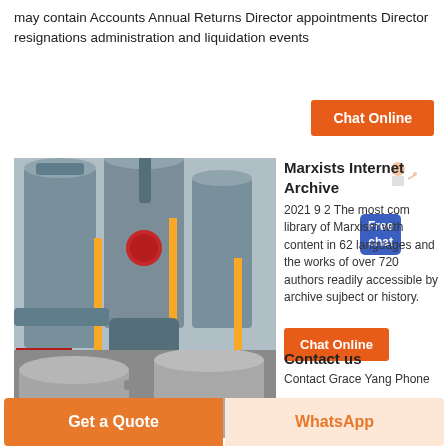may contain Accounts Annual Returns Director appointments Director resignations administration and liquidation events
[Figure (other): Orange button labeled Chat Online on white background]
[Figure (photo): Industrial facility with large grey cylindrical silos, machinery, and yellow metal structures]
Marxists Internet Archive
2021 9 2 The most com library of Marxism with content in 62 languages and the works of over 720 authors readily accessible by archive sujbect or history.
[Figure (photo): Industrial piping and silo structures, partial view]
Contact us
Contact Grace Yang Phone
[Figure (other): Footer bar with Get a Quote button and WhatsApp button]